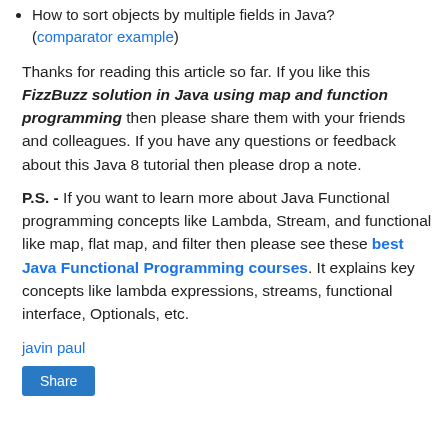How to sort objects by multiple fields in Java? (comparator example)
Thanks for reading this article so far. If you like this FizzBuzz solution in Java using map and function programming then please share them with your friends and colleagues. If you have any questions or feedback about this Java 8 tutorial then please drop a note.
P.S. -  If you want to learn more about Java Functional programming concepts like Lambda, Stream, and functional like map, flat map, and filter then please see these best Java Functional Programming courses. It explains key concepts like lambda expressions, streams, functional interface, Optionals, etc.
javin paul
Share